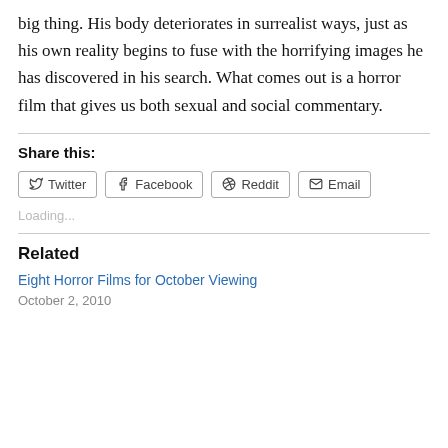big thing. His body deteriorates in surrealist ways, just as his own reality begins to fuse with the horrifying images he has discovered in his search. What comes out is a horror film that gives us both sexual and social commentary.
Share this:
Loading...
Related
Eight Horror Films for October Viewing
October 2, 2010